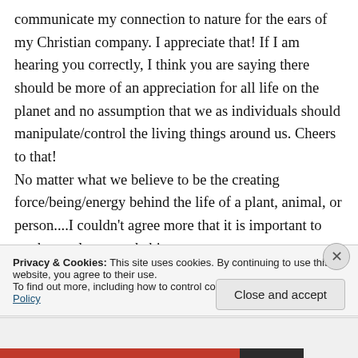communicate my connection to nature for the ears of my Christian company. I appreciate that! If I am hearing you correctly, I think you are saying there should be more of an appreciation for all life on the planet and no assumption that we as individuals should manipulate/control the living things around us. Cheers to that! No matter what we believe to be the creating force/being/energy behind the life of a plant, animal, or person....I couldn't agree more that it is important to work to unlearn our habits to
Privacy & Cookies: This site uses cookies. By continuing to use this website, you agree to their use.
To find out more, including how to control cookies, see here: Cookie Policy
Close and accept